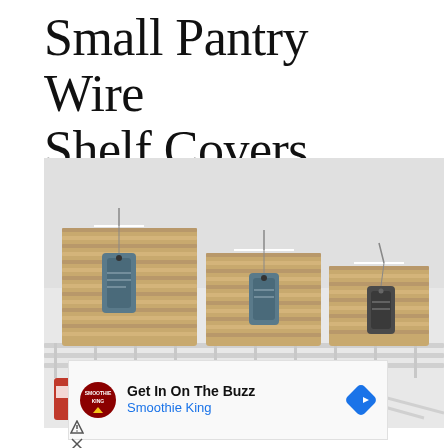Small Pantry Wire Shelf Covers
[Figure (photo): Three wicker/seagrass storage baskets with dark chalkboard label tags sitting on a white wire pantry shelf. Below the shelf are canned goods and blue boxes.]
[Figure (infographic): Advertisement banner: Smoothie King logo on left, text 'Get In On The Buzz' in bold and 'Smoothie King' in blue below, blue diamond arrow icon on right.]